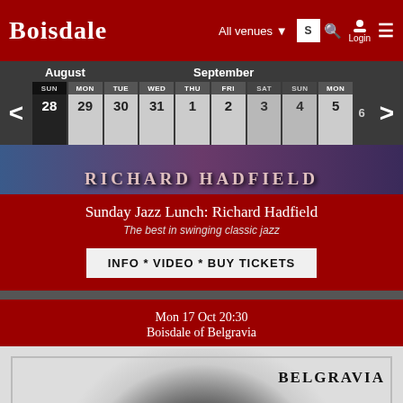BOISDALE  All venues  Login
August  September
| SUN | MON | TUE | WED | THU | FRI | SAT | SUN | MON | TUE |
| --- | --- | --- | --- | --- | --- | --- | --- | --- | --- |
| 28 | 29 | 30 | 31 | 1 | 2 | 3 | 4 | 5 | 6 |
[Figure (photo): Banner image text: RICHARD HADFIELD in stylized text over a colorful background]
Sunday Jazz Lunch: Richard Hadfield
The best in swinging classic jazz
INFO * VIDEO * BUY TICKETS
Mon 17 Oct 20:30
Boisdale of Belgravia
[Figure (photo): Black and white photograph of a man's head, with 'BELGRAVIA' text label overlaid on the right side]